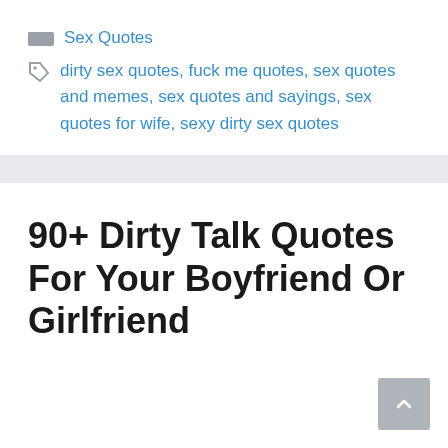Sex Quotes
dirty sex quotes, fuck me quotes, sex quotes and memes, sex quotes and sayings, sex quotes for wife, sexy dirty sex quotes
90+ Dirty Talk Quotes For Your Boyfriend Or Girlfriend